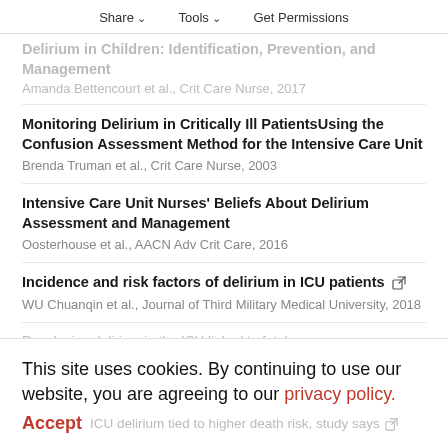Share | Tools | Get Permissions
Delirium in Children: Identification, Prevention, and Management
Amanda Bettencourt et al., Crit Care Nurse, 2017
Monitoring Delirium in Critically Ill PatientsUsing the Confusion Assessment Method for the Intensive Care Unit
Brenda Truman et al., Crit Care Nurse, 2003
Intensive Care Unit Nurses' Beliefs About Delirium Assessment and Management
Oosterhouse et al., AACN Adv Crit Care, 2016
Incidence and risk factors of delirium in ICU patients
WU Chuanqin et al., Journal of Third Military Medical University, 2018
Developing delirium in the ICU linked to fatal...
This site uses cookies. By continuing to use our website, you are agreeing to our privacy policy.
Accept   ICU delirium tied to higher death risk, study says